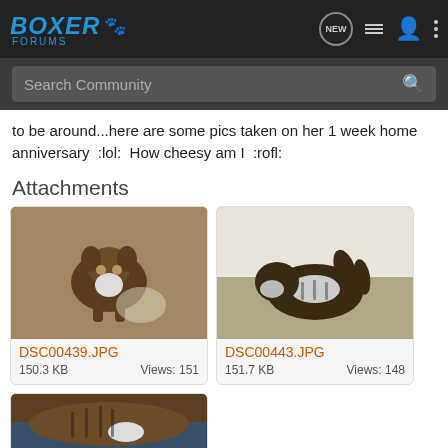BOXER FORUMS
to be around...here are some pics taken on her 1 week home anniversary  :lol:  How cheesy am I  :rofl:
Attachments
[Figure (photo): Boxer puppy standing on floor, DSC00439.JPG, 150.3 KB, Views: 151]
[Figure (photo): Boxer puppy lying on its back being held, DSC00443.JPG, 151.7 KB, Views: 148]
[Figure (photo): Partial view of boxer puppy, third attachment]